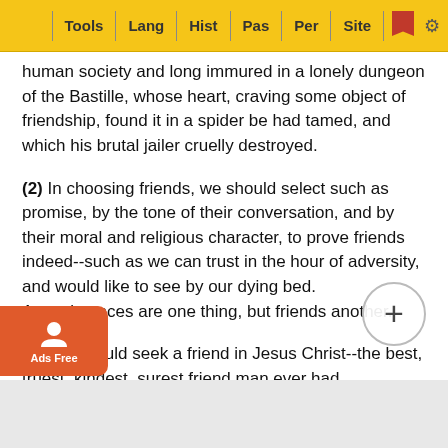Tools | Lang | Hist | Pas | Per | Site
human society and long immured in a lonely dungeon of the Bastille, whose heart, craving some object of friendship, found it in a spider be had tamed, and which his brutal jailer cruelly destroyed.
(2) In choosing friends, we should select such as promise, by the tone of their conversation, and by their moral and religious character, to prove friends indeed--such as we can trust in the hour of adversity, and would like to see by our dying bed. Acquaintances are one thing, but friends another.
(3) We should seek a friend in Jesus Christ--the best, truest, kindest, surest friend man ever had. Everliving, everloving, and everlasting. Like summer birds which come and go with the sun, like our shadow which deserts us when his face... ded, like fair flowers that close their leaves as soo... begins to fall or cold winds to blow, earthly friends may deser... ort-- at the... well- know... ch a